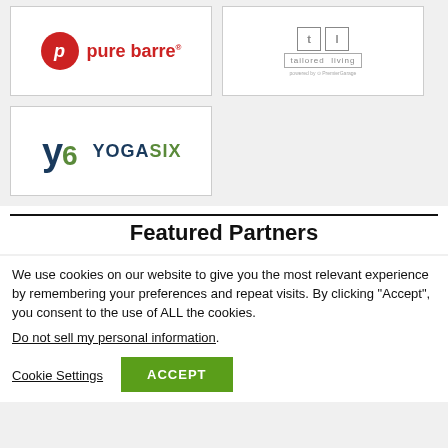[Figure (logo): Pure Barre logo - red circle with italic p, red text 'pure barre']
[Figure (logo): Tailored Living logo - gray tl blocks with 'tailored living' text and 'powered by PremierGarage']
[Figure (logo): YogaSix logo - stylized y6 icon with YOGASIX text in dark teal and green]
Featured Partners
We use cookies on our website to give you the most relevant experience by remembering your preferences and repeat visits. By clicking “Accept”, you consent to the use of ALL the cookies.
Do not sell my personal information.
Cookie Settings  ACCEPT